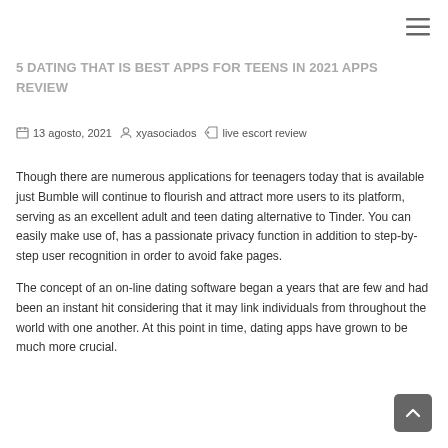5 DATING THAT IS BEST APPS FOR TEENS IN 2021 APPS REVIEW
13 agosto, 2021   xyasociados   live escort review
Though there are numerous applications for teenagers today that is available just Bumble will continue to flourish and attract more users to its platform, serving as an excellent adult and teen dating alternative to Tinder. You can easily make use of, has a passionate privacy function in addition to step-by-step user recognition in order to avoid fake pages.
The concept of an on-line dating software began a years that are few and had been an instant hit considering that it may link individuals from throughout the world with one another. At this point in time, dating apps have grown to be much more crucial.